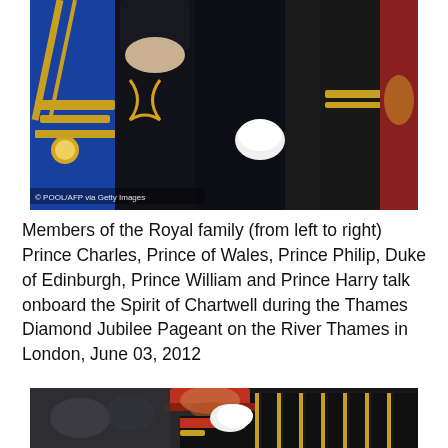[Figure (photo): Members of the Royal Family in military uniforms on the Spirit of Chartwell. Shows figures in ceremonial dress with gold sashes, medals, and decorations. Photo credit: © POOL/AFP via Getty Images]
Members of the Royal family (from left to right) Prince Charles, Prince of Wales, Prince Philip, Duke of Edinburgh, Prince William and Prince Harry talk onboard the Spirit of Chartwell during the Thames Diamond Jubilee Pageant on the River Thames in London, June 03, 2012
[Figure (photo): Prince Harry in military uniform with red-banded cap, saluting while in a carriage, with guards visible in the background.]